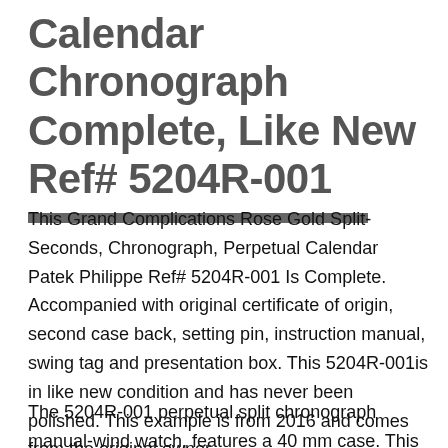Calendar Chronograph Complete, Like New Ref# 5204R-001
This Grand Complications Rose Gold Split-Seconds, Chronograph, Perpetual Calendar Patek Philippe Ref# 5204R-001 Is Complete. Accompanied with original certificate of origin, second case back, setting pin, instruction manual, swing tag and presentation box. This 5204R-001is in like new condition and has never been polished. This example is from 2016 and comes from the original owner.
The 5204R-001 perpetual split chronograph manual-wind watch, features a 40 mm case. This is a rose gold example